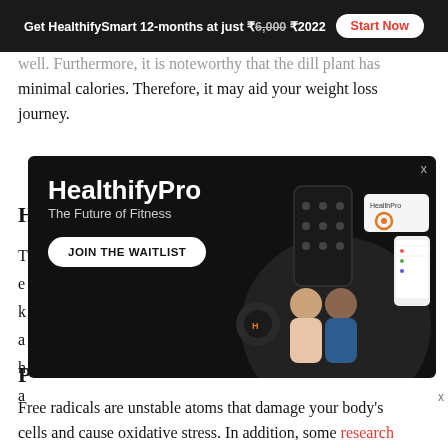Get HealthifySmart 12-months at just ₹6,000 ₹2022  Start Now
well. Furthermore, it is noteworthy that the dill plant has minimal calories. Therefore, it may aid your weight loss journey.
[Figure (advertisement): HealthifyPro advertisement banner on black background showing 'HealthifyPro - The Future of Fitness' with a 'JOIN THE WAITLIST' button and images of fitness devices and two people]
Free radicals are unstable atoms that damage your body's cells and cause oxidative stress. In addition, some research